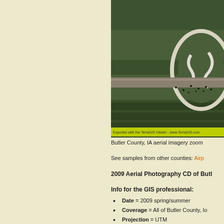[Figure (photo): Aerial imagery of Butler County, IA showing fields and what appears to be a racetrack or oval road structure, viewed from above. A watermark bar at the bottom reads 'Exported with the TerraGIS Viewer - www.TerraGIS.com'.]
Butler County, IA aerial imagery zoom
See samples from other counties: Airp
2009 Aerial Photography CD of Butl
Info for the GIS professional:
Date = 2009 spring/summer
Coverage = All of Butler County, Io
Projection = UTM
Resolution = 1 meter ortho-rectifie
Format = MrSID
Compatible = all ESRI products, (A
other GIS software that reads MrSID